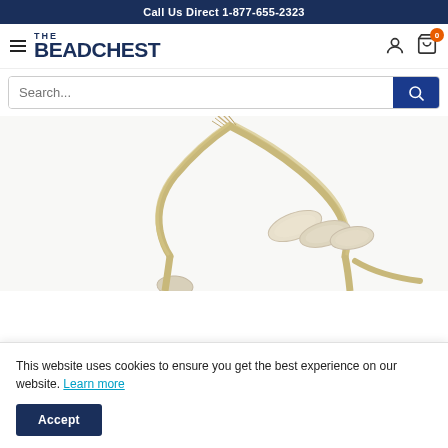Call Us Direct 1-877-655-2323
[Figure (logo): The Bead Chest logo with hamburger menu, user icon, and cart icon showing badge '0']
[Figure (screenshot): Search bar with placeholder text 'Search...' and a dark blue search button with magnifying glass icon]
[Figure (photo): Product photo showing beaded rope necklace with ivory/bone colored oblong beads on a twisted natural fiber cord against white background]
This website uses cookies to ensure you get the best experience on our website. Learn more
Accept